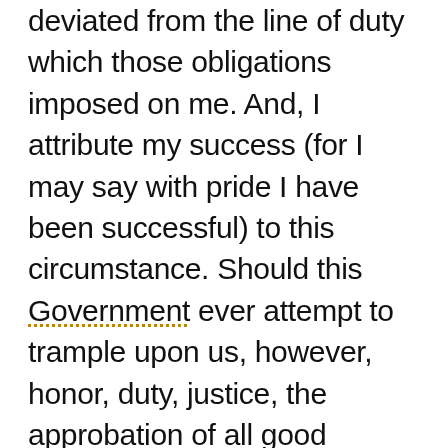deviated from the line of duty which those obligations imposed on me. And, I attribute my success (for I may say with pride I have been successful) to this circumstance. Should this Government ever attempt to trample upon us, however, honor, duty, justice, the approbation of all good people of all good Nations, will point out the course for us to adopt. But, I have no fears— not the most distant of such an unhappy event. But few of my native countrymen understand me, my character, motives, or principles. An earnest desire to benefit all; in short, more good will, and confidence in mankind than [was] deserved, have often led me into